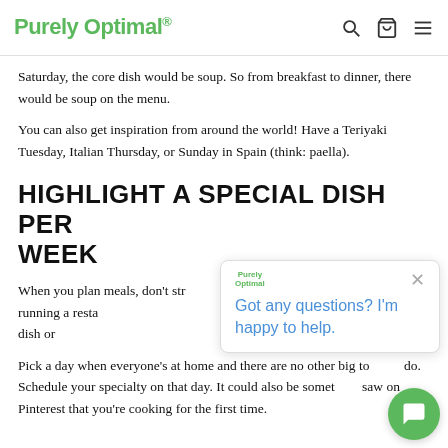Purely Optimal
Saturday, the core dish would be soup. So from breakfast to dinner, there would be soup on the menu.
You can also get inspiration from around the world! Have a Teriyaki Tuesday, Italian Thursday, or Sunday in Spain (think: paella).
HIGHLIGHT A SPECIAL DISH PER WEEK
When you plan meals, don't str... dish. You're not running a resta... no space for an exciting dish or...
Pick a day when everyone's at home and there are no other big to do. Schedule your specialty on that day. It could also be someth... saw on Pinterest that you're cooking for the first time.
[Figure (screenshot): Chat popup with Purely Optimal branding, close button, and text 'Got any questions? I'm happy to help.' with a green chat bubble button in the bottom right.]